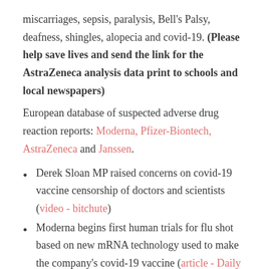miscarriages, sepsis, paralysis, Bell's Palsy, deafness, shingles, alopecia and covid-19. (Please help save lives and send the link for the AstraZeneca analysis data print to schools and local newspapers)
European database of suspected adverse drug reaction reports: Moderna, Pfizer-Biontech, AstraZeneca and Janssen.
Derek Sloan MP raised concerns on covid-19 vaccine censorship of doctors and scientists (video - bitchute)
Moderna begins first human trials for flu shot based on new mRNA technology used to make the company's covid-19 vaccine (article - Daily